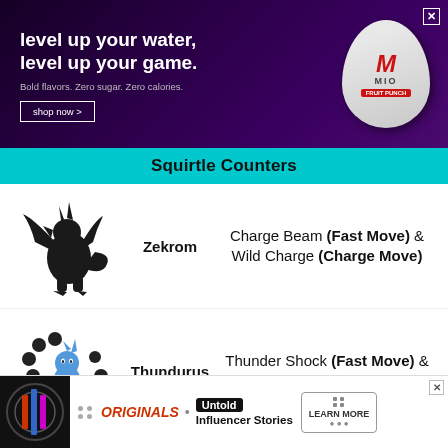[Figure (photo): MIO water enhancement ad: 'level up your water, level up your game.' Bold flavors. Zero sugar. Zero calories. Shop now button. MIO Fruit Punch egg-shaped product image. Dark purple background.]
Squirtle Counters
[Figure (illustration): Zekrom Pokemon illustration — black dragon-like creature]
Zekrom
Charge Beam (Fast Move) & Wild Charge (Charge Move)
[Figure (illustration): Thundurus Pokemon illustration — genie-like creature on a cloud with dark spheres around it]
Thundurus
Thunder Shock (Fast Move) & Thunder (Charge Move)
Thunder Shock (Fast Move) & ... (Charge Move) — partially visible third entry
[Figure (photo): Bottom ad banner: Originals · Untold Influencer Stories · Learn More button. Dark icon on left. Partially overlapping page.]